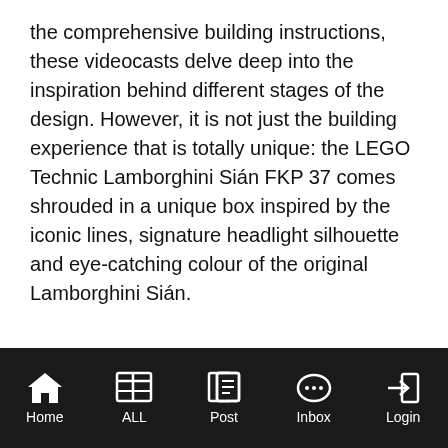the comprehensive building instructions, these videocasts delve deep into the inspiration behind different stages of the design. However, it is not just the building experience that is totally unique: the LEGO Technic Lamborghini Sián FKP 37 comes shrouded in a unique box inspired by the iconic lines, signature headlight silhouette and eye-catching colour of the original Lamborghini Sián.
[Figure (screenshot): Mobile app navigation bar with icons and labels: Home, ALL, Post, Inbox, Login on black background]